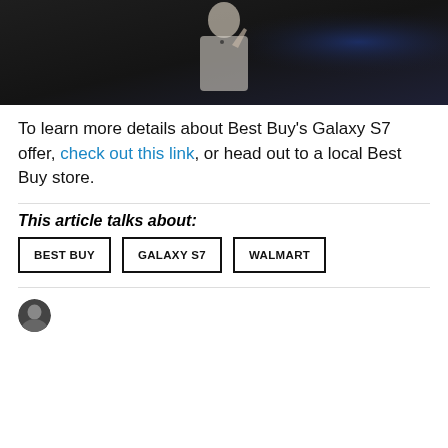[Figure (photo): A person in a light-colored jacket gesturing with their hand, standing in what appears to be a retail/electronics store with dark background and blue ambient lighting.]
To learn more details about Best Buy's Galaxy S7 offer, check out this link, or head out to a local Best Buy store.
This article talks about:
BEST BUY
GALAXY S7
WALMART
[Figure (photo): Small circular author avatar photo, black and white portrait.]